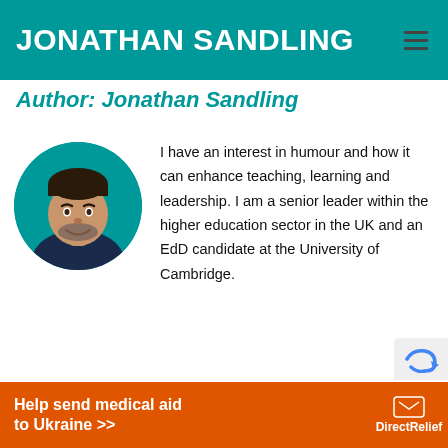JONATHAN SANDLING
Author: Jonathan Sandling
[Figure (photo): Circular profile photo of Jonathan Sandling, a man with short dark hair and a short beard, smiling, wearing a dark navy shirt, set against a teal background.]
I have an interest in humour and how it can enhance teaching, learning and leadership. I am a senior leader within the higher education sector in the UK and an EdD candidate at the University of Cambridge.
Help send medical aid to Ukraine >> DirectRelief